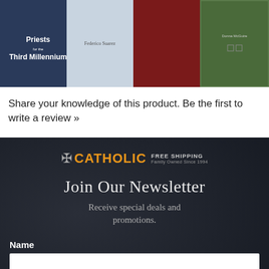[Figure (illustration): Four book covers side by side: 'Priests for the Third Millennium', a book by Federico Suarez with figures on snowy background, a dark red book with an author figure, and a green-bordered book by Donna McGuire]
Share your knowledge of this product. Be the first to write a review »
[Figure (logo): Catholic.com logo with cross symbol, 'CATHOLIC' in orange, 'FREE SHIPPING' and 'Family Owned Since 1994' text]
Join Our Newsletter
Receive special deals and promotions.
Name
Email